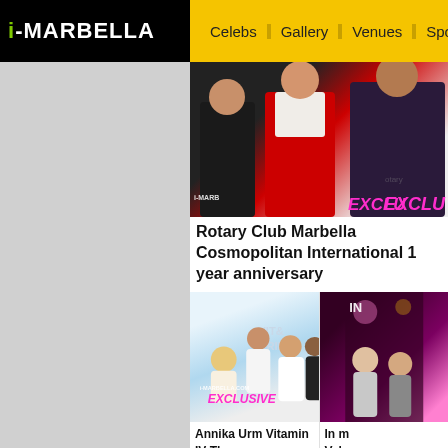i-MARBELLA | Celebs | Gallery | Venues | Sport | Restau...
[Figure (photo): Photo of people at Rotary Club Marbella Cosmopolitan International event with i-MARBELLA EXCLUSIVE watermark]
Rotary Club Marbella Cosmopolitan International 1 year anniversary
[Figure (photo): Photo of Annika Urm and staff at Vit&Drip Center Marbella with i-MARBELLA.COM EXCLUSIVE watermark]
Annika Urm Vitamin IV Therapy experience at Vit&Drip Center Marbella: beyond my expectation
[Figure (photo): Dark event photo with people at a venue, partially cropped]
In m... Vale... of M... all! 1 Pictu...